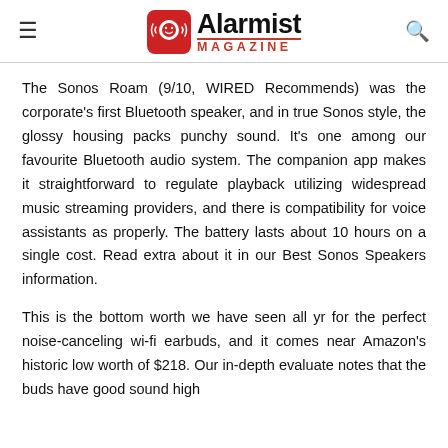Alarmist Magazine
The Sonos Roam (9/10, WIRED Recommends) was the corporate's first Bluetooth speaker, and in true Sonos style, the glossy housing packs punchy sound. It’s one among our favourite Bluetooth audio system. The companion app makes it straightforward to regulate playback utilizing widespread music streaming providers, and there is compatibility for voice assistants as properly. The battery lasts about 10 hours on a single cost. Read extra about it in our Best Sonos Speakers information.
This is the bottom worth we have seen all yr for the perfect noise-canceling wi-fi earbuds, and it comes near Amazon’s historic low worth of $218. Our in-depth evaluate notes that the buds have good sound high